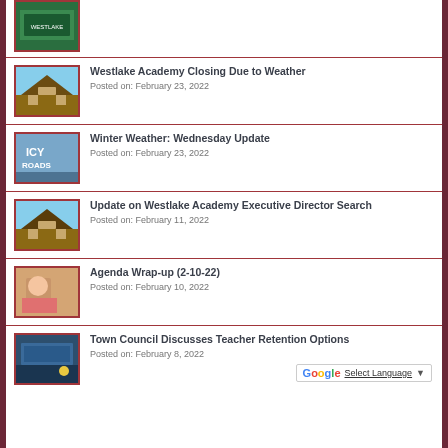[Figure (photo): Partial thumbnail of a building/sign at top of page]
Westlake Academy Closing Due to Weather
Posted on: February 23, 2022
Winter Weather: Wednesday Update
Posted on: February 23, 2022
Update on Westlake Academy Executive Director Search
Posted on: February 11, 2022
Agenda Wrap-up (2-10-22)
Posted on: February 10, 2022
Town Council Discusses Teacher Retention Options
Posted on: February 8, 2022